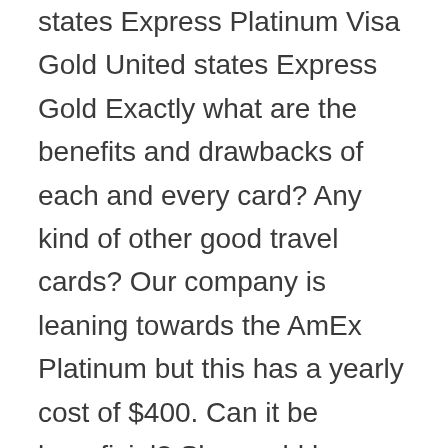states Express Platinum Visa Gold United states Express Gold Exactly what are the benefits and drawbacks of each and every card? Any kind of other good travel cards? Our company is leaning towards the AmEx Platinum but this has a yearly cost of $400. Can it be beneficial? She could be utilizing the airport lounges while she travels, if that makes a significant difference. Additionally, would my hubby or i must get one and then get our child a card that is additional can she function as the just one into the family